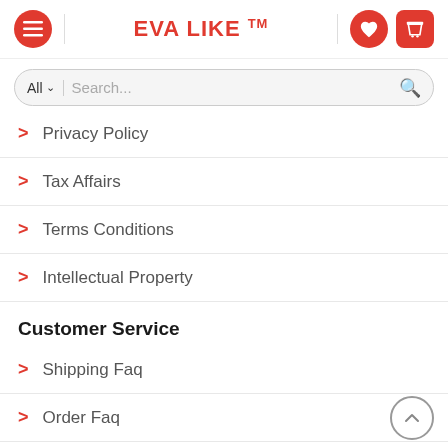EVA LIKE ™
Privacy Policy
Tax Affairs
Terms Conditions
Intellectual Property
Customer Service
Shipping Faq
Order Faq
Shipping Methods